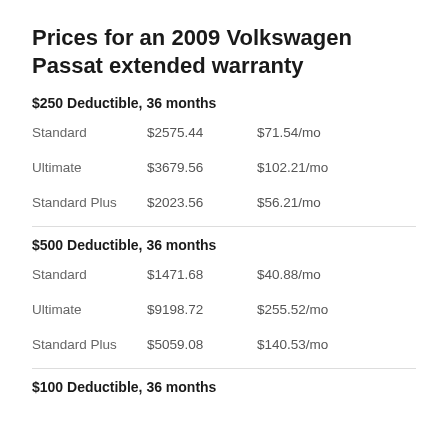Prices for an 2009 Volkswagen Passat extended warranty
$250 Deductible, 36 months
| Plan | Total Price | Monthly |
| --- | --- | --- |
| Standard | $2575.44 | $71.54/mo |
| Ultimate | $3679.56 | $102.21/mo |
| Standard Plus | $2023.56 | $56.21/mo |
$500 Deductible, 36 months
| Plan | Total Price | Monthly |
| --- | --- | --- |
| Standard | $1471.68 | $40.88/mo |
| Ultimate | $9198.72 | $255.52/mo |
| Standard Plus | $5059.08 | $140.53/mo |
$100 Deductible, 36 months